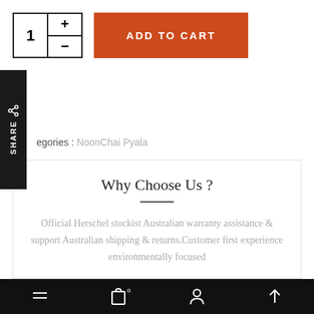[Figure (screenshot): Quantity selector showing number 1 with plus and minus buttons, followed by an orange ADD TO CART button]
[Figure (infographic): Black vertical sidebar with share icon and SHARE text written vertically]
egories : NoonChai Pyala
Why Choose Us ?
Official Herschel stockist Australian warranty assistance & support Australian shipping & returns.Customer first experience environmentally focused
Navigation bar with menu, cart, account, and scroll-to-top icons